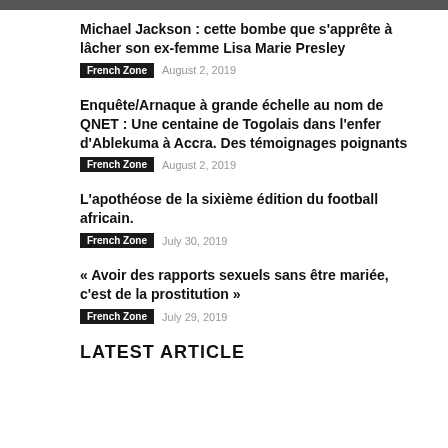Michael Jackson : cette bombe que s'apprête à lâcher son ex-femme Lisa Marie Presley | French Zone | August 2, 2019
Enquête/Arnaque à grande échelle au nom de QNET : Une centaine de Togolais dans l'enfer d'Ablekuma à Accra. Des témoignages poignants | French Zone | August 2, 2019
L'apothéose de la sixième édition du football africain. | French Zone | July 30, 2019
« Avoir des rapports sexuels sans être mariée, c'est de la prostitution » | French Zone | July 29, 2019
LATEST ARTICLE